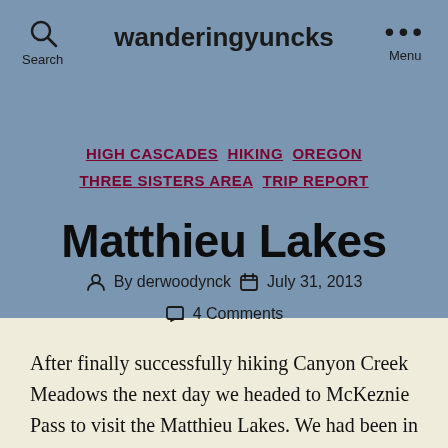wanderingyuncks
HIGH CASCADES   HIKING   OREGON   THREE SISTERS AREA   TRIP REPORT
Matthieu Lakes
By derwoodynck   July 31, 2013   4 Comments
After finally successfully hiking Canyon Creek Meadows the next day we headed to McKeznie Pass to visit the Matthieu Lakes. We had been in this part of the